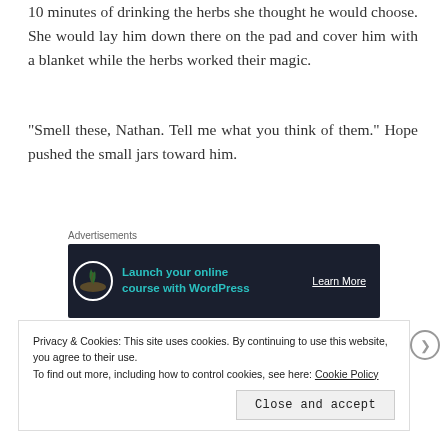10 minutes of drinking the herbs she thought he would choose.  She would lay him down there on the pad and cover him with a blanket while the herbs worked their magic.
“Smell these, Nathan.  Tell me what you think of them.” Hope pushed the small jars toward him.
[Figure (other): Advertisement banner with dark navy background. Shows a bonsai tree icon on the left, text 'Launch your online course with WordPress' in teal, and 'Learn More' button on the right. Labeled 'Advertisements' above.]
“Okay,” he agreed, feeling more confident knowing that she
Privacy & Cookies: This site uses cookies. By continuing to use this website, you agree to their use.
To find out more, including how to control cookies, see here: Cookie Policy
Close and accept